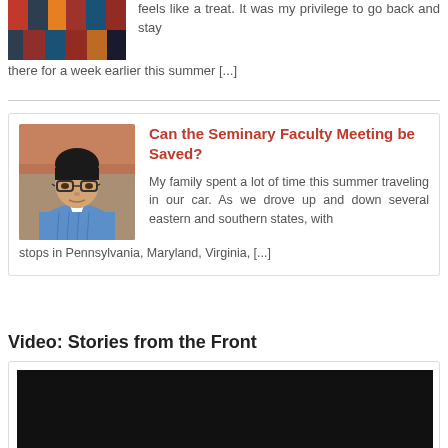feels like a treat. It was my privilege to go back and stay there for a week earlier this summer [...]
[Figure (photo): Colorful patterned textile or flag image]
Can the Seminary Faculty Meeting be Saved?
[Figure (photo): Headshot of an Asian man with glasses wearing a blue plaid shirt, standing in front of a brick building]
My family spent a lot of time this summer traveling in our car. As we drove up and down several eastern and southern states, with stops in Pennsylvania, Maryland, Virginia, [...]
Video: Stories from the Front
[Figure (screenshot): Dark/black video thumbnail]